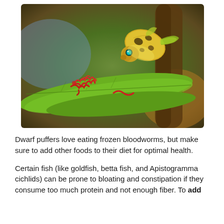[Figure (photo): A small yellow-green spotted dwarf puffer fish with bright teal eyes approaches red bloodworms (live or frozen) resting on a large green leaf, with a tree trunk and blurred background in an aquarium or natural setting.]
Dwarf puffers love eating frozen bloodworms, but make sure to add other foods to their diet for optimal health.
Certain fish (like goldfish, betta fish, and Apistogramma cichlids) can be prone to bloating and constipation if they consume too much protein and not enough fiber. To add